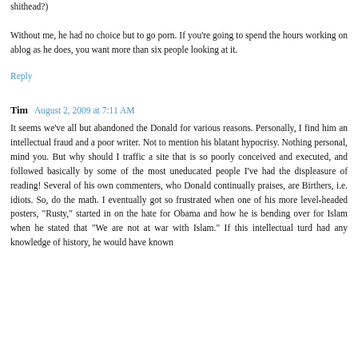shithead?)
Without me, he had no choice but to go porn. If you're going to spend the hours working on ablog as he does, you want more than six people looking at it.
Reply
Tim  August 2, 2009 at 7:11 AM
It seems we've all but abandoned the Donald for various reasons. Personally, I find him an intellectual fraud and a poor writer. Not to mention his blatant hypocrisy. Nothing personal, mind you. But why should I traffic a site that is so poorly conceived and executed, and followed basically by some of the most uneducated people I've had the displeasure of reading! Several of his own commenters, who Donald continually praises, are Birthers, i.e. idiots. So, do the math. I eventually got so frustrated when one of his more level-headed posters, "Rusty," started in on the hate for Obama and how he is bending over for Islam when he stated that "We are not at war with Islam." If this intellectual turd had any knowledge of history, he would have known